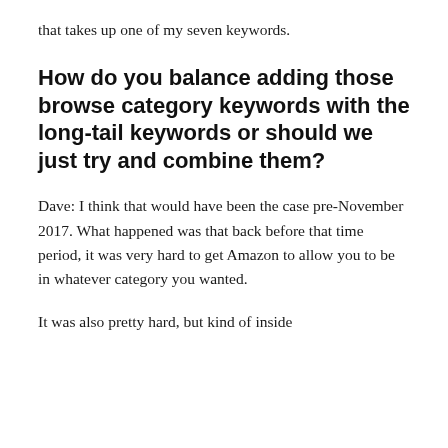that takes up one of my seven keywords.
How do you balance adding those browse category keywords with the long-tail keywords or should we just try and combine them?
Dave: I think that would have been the case pre-November 2017. What happened was that back before that time period, it was very hard to get Amazon to allow you to be in whatever category you wanted.
It was also pretty hard, but kind of inside